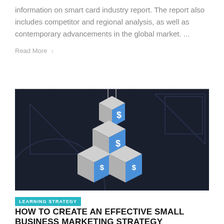information on smart card industry report. The report also includes competitor and regional analysis, as well as contemporary advancements in the global market. ...
Read More ↑
[Figure (illustration): Dark background illustration showing stacked 3D cubes/boxes with dollar signs on their faces, suspended and stacked, with geometric triangle shapes in the background. Blue and grey colored cubes arranged in a tower formation.]
LEARNING STRATEGY
HOW TO CREATE AN EFFECTIVE SMALL BUSINESS MARKETING STRATEGY